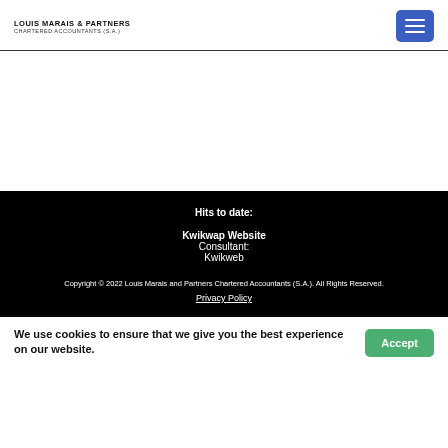LOUIS MARAIS & PARTNERS CHARTERED ACCOUNTANTS (S.A.)
Hits to date:
Kwikwap Website Consultant:
Kwikweb
Copyright © 2022 Louis Marais and Partners Chartered Accountants (S.A.). All Rights Reserved.
Privacy Policy
We use cookies to ensure that we give you the best experience on our website.